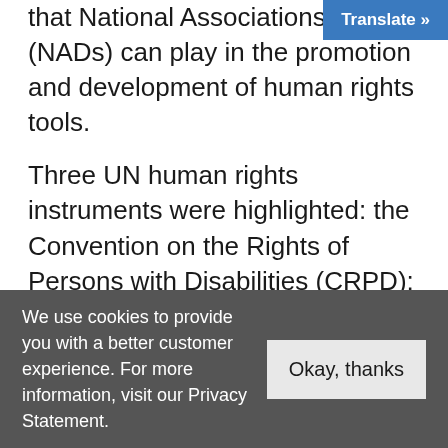that National Associations of Deaf (NADs) can play in the promotion and development of human rights tools.
Three UN human rights instruments were highlighted: the Convention on the Rights of Persons with Disabilities (CRPD); the Convention on the Elimination of all forms of Discrimination Against Women (CEDAW) and the Convention on the
We use cookies to provide you with a better customer experience. For more information, visit our Privacy Statement.